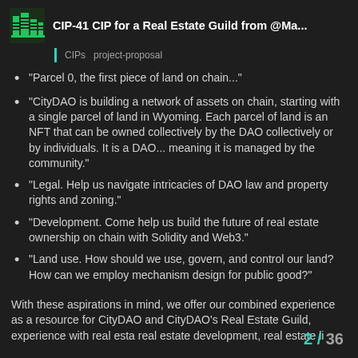CIP-41 CIP for a Real Estate Guild from @Ma...
CIPs  project-proposal
"Parcel 0, the first piece of land on chain..."
"CityDAO is building a network of assets on chain, starting with a single parcel of land in Wyoming. Each parcel of land is an NFT that can be owned collectively by the DAO collectively or by individuals. It is a DAO... meaning it is managed by the community."
"Legal. Help us navigate intricacies of DAO law and property rights and zoning."
"Development. Come help us build the future of real estate ownership on chain with Solidity and Web3."
"Land use. How should we use, govern, and control our land? How can we employ mechanism design for public good?"
With these aspirations in mind, we offer our combined experience as a resource for CityDAO and CityDAO's Real Estate Guild, experience with real esta real estate development, real estate li
2 / 36